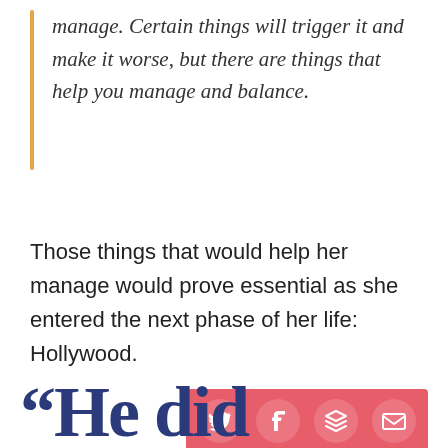manage. Certain things will trigger it and make it worse, but there are things that help you manage and balance.
Those things that would help her manage would prove essential as she entered the next phase of her life: Hollywood.
[Figure (other): Social sharing buttons bar (Twitter, Facebook, Layers/Bookmark, Email) on a red/coral background]
“He did